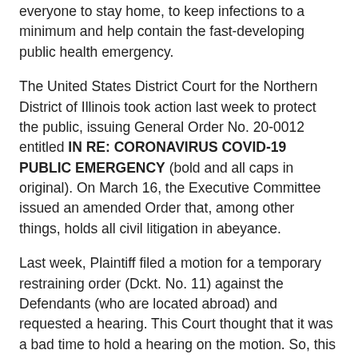everyone to stay home, to keep infections to a minimum and help contain the fast-developing public health emergency.
The United States District Court for the Northern District of Illinois took action last week to protect the public, issuing General Order No. 20-0012 entitled IN RE: CORONAVIRUS COVID-19 PUBLIC EMERGENCY (bold and all caps in original). On March 16, the Executive Committee issued an amended Order that, among other things, holds all civil litigation in abeyance.
Last week, Plaintiff filed a motion for a temporary restraining order (Dckt. No. 11) against the Defendants (who are located abroad) and requested a hearing. This Court thought that it was a bad time to hold a hearing on the motion. So, this Court moved the hearing by a few weeks to protect the health and safety of our community, including counsel and this Court's staff. Waiting a few weeks seemed prudent.